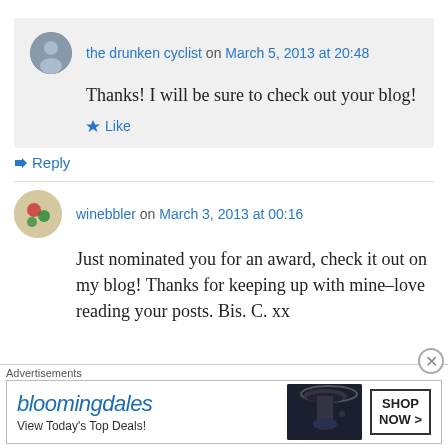the drunken cyclist on March 5, 2013 at 20:48
Thanks! I will be sure to check out your blog!
Like
Reply
winebbler on March 3, 2013 at 00:16
Just nominated you for an award, check it out on my blog! Thanks for keeping up with mine–love reading your posts. Bis. C. xx
Advertisements
[Figure (other): Bloomingdale's advertisement banner with logo, 'View Today's Top Deals!' text, woman with hat, and 'SHOP NOW >' button]